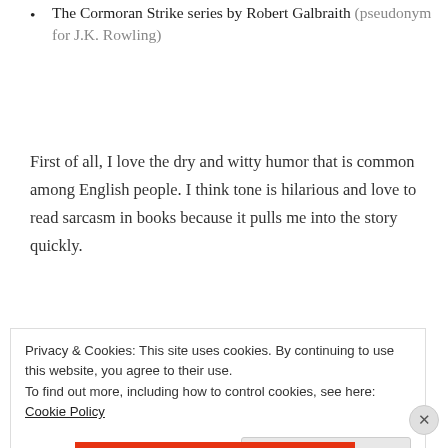The Cormoran Strike series by Robert Galbraith (pseudonym for J.K. Rowling)
First of all, I love the dry and witty humor that is common among English people. I think tone is hilarious and love to read sarcasm in books because it pulls me into the story quickly.
[Figure (other): Advertisement banner for 'Day One' journaling app with blue background, small cross/plus decorations, app icon at top, text 'DAY ONE - The only journaling app you'll ever need.' and a 'Get the app' dark blue button.]
Privacy & Cookies: This site uses cookies. By continuing to use this website, you agree to their use. To find out more, including how to control cookies, see here: Cookie Policy
Close and accept